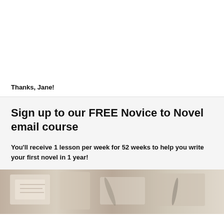Thanks, Jane!
Sign up to our FREE Novice to Novel email course
You'll receive 1 lesson per week for 52 weeks to help you write your first novel in 1 year!
[Figure (photo): Photo of writing/novel materials — pens, notebooks, papers on a desk, partially visible at bottom of page]